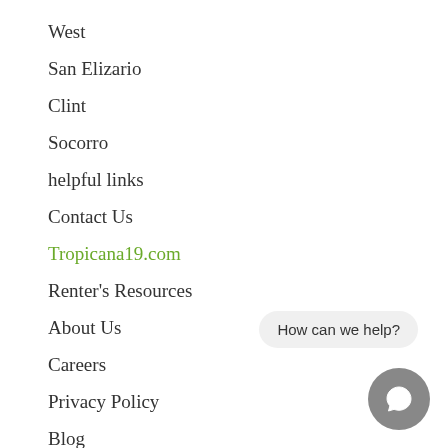West
San Elizario
Clint
Socorro
helpful links
Contact Us
Tropicana19.com
Renter's Resources
About Us
Careers
Privacy Policy
Blog
own your own home
Are you interested in owning a home?